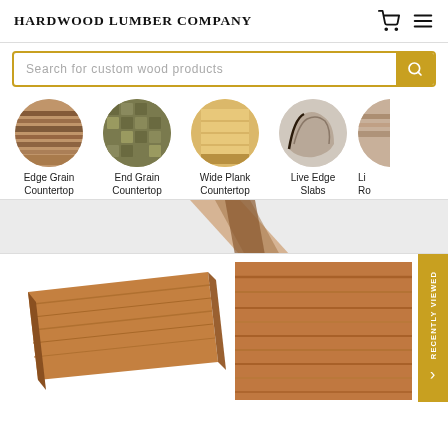HARDWOOD LUMBER COMPANY
Search for custom wood products
[Figure (screenshot): Category circles: Edge Grain Countertop, End Grain Countertop, Wide Plank Countertop, Live Edge Slabs, and a partially visible fifth category]
[Figure (photo): Banner area showing corner of a wooden countertop on gray background]
[Figure (photo): Product photo: angled view of a light brown wood countertop slab]
[Figure (photo): Product photo: top-down view of a teak wood countertop with horizontal grain]
RECENTLY VIEWED